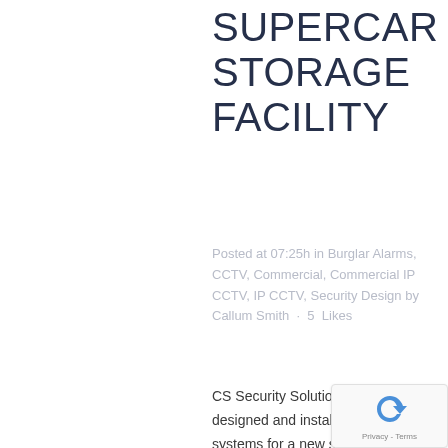SUPERCAR STORAGE FACILITY
Posted at 07:25h in Burglar Alarms, CCTV, Commercial, Commercial IP CCTV, IP CCTV, Security Design by Callum Smith · 5 Likes
CS Security Solutions Ltd have designed and installed security systems for a new secure supercar storage facility. CS Security Solutions Ltd designed and installed a remotely monitored police